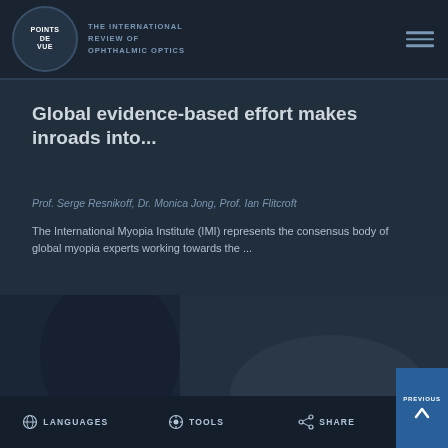POINTS DE VUE — THE INTERNATIONAL REVIEW OF OPHTHALMIC OPTICS
Global evidence-based effort makes inroads into...
Prof. Serge Resnikoff, Dr. Monica Jong, Prof. Ian Flitcroft
The International Myopia Institute (IMI) represents the consensus body of global myopia experts working towards the ...
[Figure (photo): Photo showing a person holding eyeglasses/spectacles, dark background]
LANGUAGES   TOOLS   SHARE